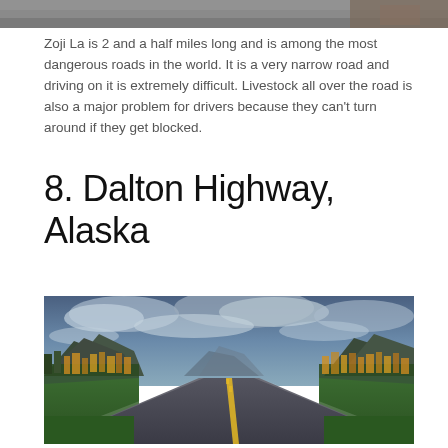[Figure (photo): Partial photo at top of page, cropped mountain/road scene]
Zoji La is 2 and a half miles long and is among the most dangerous roads in the world. It is a very narrow road and driving on it is extremely difficult. Livestock all over the road is also a major problem for drivers because they can't turn around if they get blocked.
8. Dalton Highway, Alaska
[Figure (photo): Photograph of Dalton Highway in Alaska showing a long straight road extending to the horizon with mountains on both sides, green grass, golden autumn trees, and a dramatic cloudy sky.]